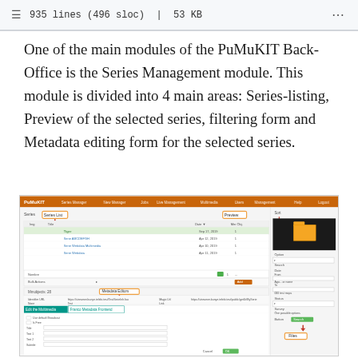935 lines (496 sloc) | 53 KB
One of the main modules of the PuMuKIT Back-Office is the Series Management module. This module is divided into 4 main areas: Series-listing, Preview of the selected series, filtering form and Metadata editing form for the selected series.
[Figure (screenshot): Screenshot of PuMuKIT Back-Office Series Management module showing the navigation bar, series listing table with highlighted row, metadata editing form with tabs, preview panel on the right with folder thumbnail, and Files button.]